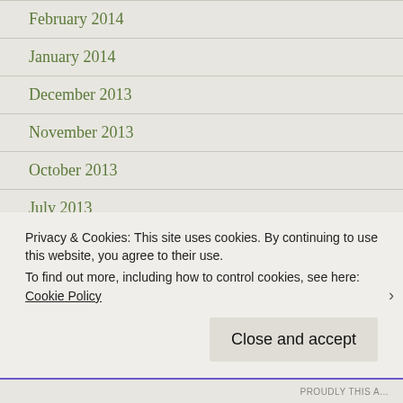February 2014
January 2014
December 2013
November 2013
October 2013
July 2013
June 2013
May 2013
April 2013
March 2013
Privacy & Cookies: This site uses cookies. By continuing to use this website, you agree to their use.
To find out more, including how to control cookies, see here: Cookie Policy
PROUDLY THIS A...